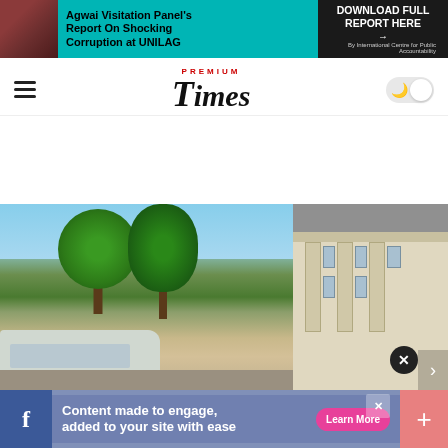[Figure (screenshot): Agwai Visitation Panel report banner ad with teal background, building photo on left, and 'DOWNLOAD FULL REPORT HERE' button on right]
PREMIUM Times
[Figure (screenshot): BUA Cement advertisement banner: 'BUILD Connections WITH BUA CEMENT — THE NEW KING OF STRENGTH' with red background and bridge photo in center]
[Figure (photo): Outdoor campus scene with green trees, a bus/vehicle on the left, and a multi-story building with columns on the right]
Content made to engage, added to your site with ease
Learn More